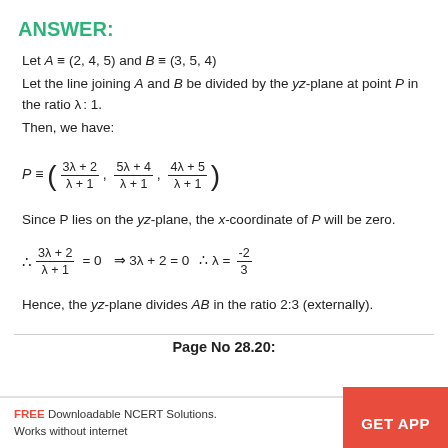ANSWER:
Let A ≡ (2, 4, 5) and B ≡ (3, 5, 4)
Let the line joining A and B be divided by the yz-plane at point P in the ratio λ: 1.
Then, we have:
Since P lies on the yz-plane, the x-coordinate of P will be zero.
Hence, the yz-plane divides AB in the ratio 2:3 (externally).
Page No 28.20:
FREE Downloadable NCERT Solutions. Works without internet  GET APP